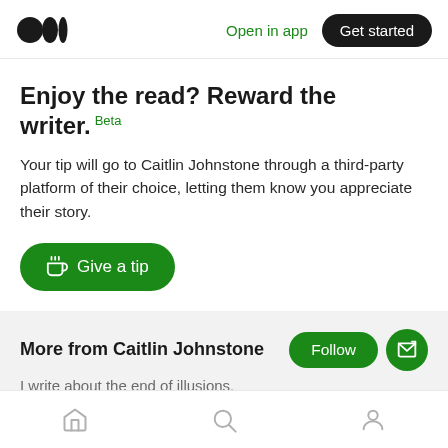Open in app  Get started
Enjoy the read? Reward the writer. Beta
Your tip will go to Caitlin Johnstone through a third-party platform of their choice, letting them know you appreciate their story.
Give a tip
More from Caitlin Johnstone
I write about the end of illusions.
May 15